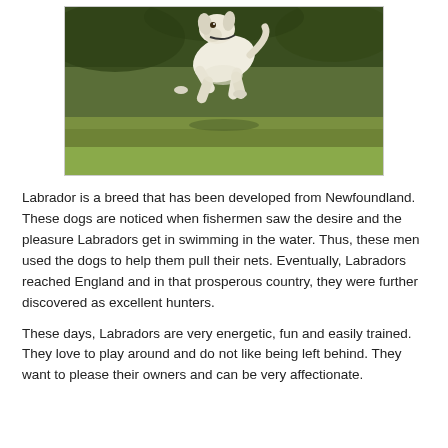[Figure (photo): A yellow/white Labrador dog running and leaping on a grassy outdoor field, photographed mid-air from the front. Green grass and foliage in the background.]
Labrador is a breed that has been developed from Newfoundland. These dogs are noticed when fishermen saw the desire and the pleasure Labradors get in swimming in the water. Thus, these men used the dogs to help them pull their nets. Eventually, Labradors reached England and in that prosperous country, they were further discovered as excellent hunters.
These days, Labradors are very energetic, fun and easily trained. They love to play around and do not like being left behind. They want to please their owners and can be very affectionate.